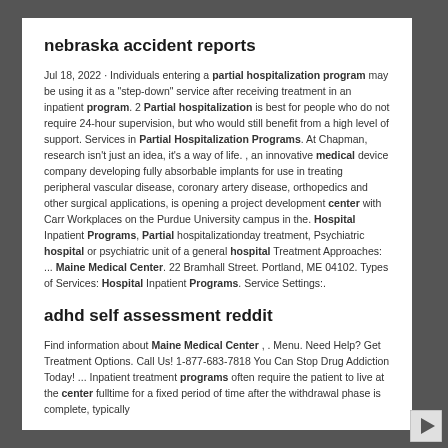nebraska accident reports
Jul 18, 2022 · Individuals entering a partial hospitalization program may be using it as a "step-down" service after receiving treatment in an inpatient program. 2 Partial hospitalization is best for people who do not require 24-hour supervision, but who would still benefit from a high level of support. Services in Partial Hospitalization Programs. At Chapman, research isn't just an idea, it's a way of life. , an innovative medical device company developing fully absorbable implants for use in treating peripheral vascular disease, coronary artery disease, orthopedics and other surgical applications, is opening a project development center with Carr Workplaces on the Purdue University campus in the. Hospital Inpatient Programs, Partial hospitalizationday treatment, Psychiatric hospital or psychiatric unit of a general hospital Treatment Approaches: ... Maine Medical Center. 22 Bramhall Street. Portland, ME 04102. Types of Services: Hospital Inpatient Programs. Service Settings:.
adhd self assessment reddit
Find information about Maine Medical Center , . Menu. Need Help? Get Treatment Options. Call Us! 1-877-683-7818 You Can Stop Drug Addiction Today! ... Inpatient treatment programs often require the patient to live at the center fulltime for a fixed period of time after the withdrawal phase is complete, typically